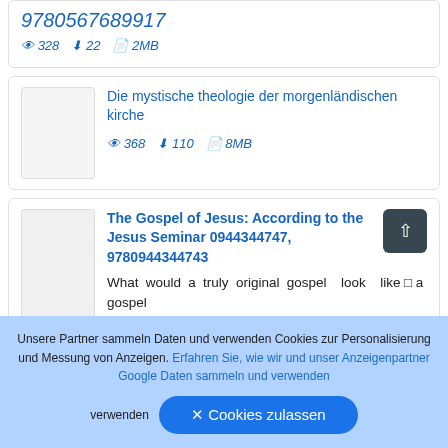9780567689917
👁 328  ⬇ 22  📄 2MB
Die mystische theologie der morgenländischen kirche
👁 368  ⬇ 110  📄 8MB
The Gospel of Jesus: According to the Jesus Seminar 0944344747, 9780944344743
What would a truly original gospel look like a gospel
Unsere Partner sammeln Daten und verwenden Cookies zur Personalisierung und Messung von Anzeigen. Erfahren Sie, wie wir und unser Anzeigenpartner Google Daten sammeln und verwenden
✕ Cookies zulassen